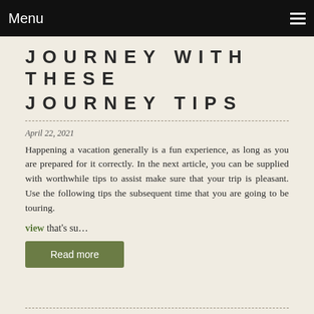Menu
JOURNEY WITH THESE JOURNEY TIPS
April 22, 2021
Happening a vacation generally is a fun experience, as long as you are prepared for it correctly. In the next article, you can be supplied with worthwhile tips to assist make sure that your trip is pleasant. Use the following tips the subsequent time that you are going to be touring.
view that's su…
Read more